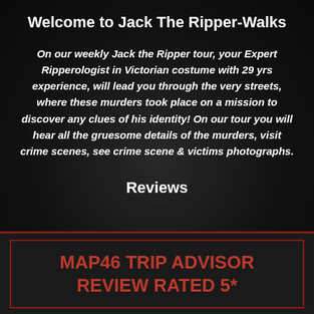Welcome to Jack The Ripper-Walks
On our weekly Jack the Ripper tour, your Expert Ripperologist in Victorian costume with 29 yrs experience, will lead you through the very streets, where these murders took place on a mission to discover any clues of his identity! On our tour you will hear all the gruesome details of the murders, visit crime scenes, see crime scene & victims photographs.
Reviews
MAP46 TRIP ADVISOR REVIEW RATED 5*